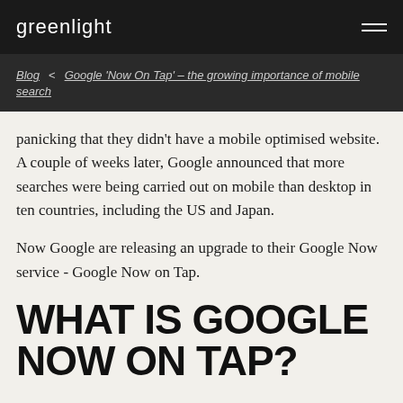greenlight
Blog < Google 'Now On Tap' – the growing importance of mobile search
panicking that they didn't have a mobile optimised website. A couple of weeks later, Google announced that more searches were being carried out on mobile than desktop in ten countries, including the US and Japan.
Now Google are releasing an upgrade to their Google Now service - Google Now on Tap.
WHAT IS GOOGLE NOW ON TAP?